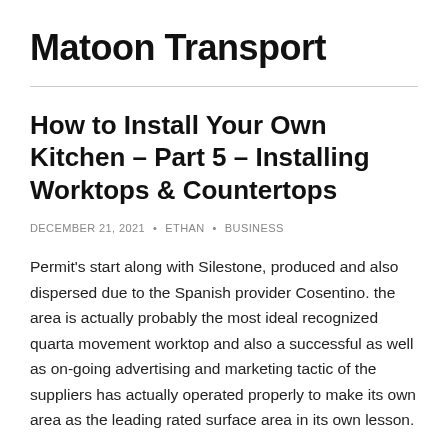Matoon Transport
How to Install Your Own Kitchen – Part 5 – Installing Worktops & Countertops
DECEMBER 21, 2021 • ETHAN • BUSINESS
Permit's start along with Silestone, produced and also dispersed due to the Spanish provider Cosentino. the area is actually probably the most ideal recognized quarta movement worktop and also a successful as well as on-going advertising and marketing tactic of the suppliers has actually operated properly to make its own area as the leading rated surface area in its own lesson.